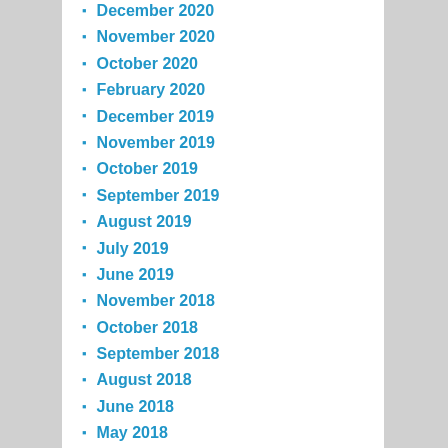December 2020
November 2020
October 2020
February 2020
December 2019
November 2019
October 2019
September 2019
August 2019
July 2019
June 2019
November 2018
October 2018
September 2018
August 2018
June 2018
May 2018
April 2018
March 2018
January 2018
December 2017
November 2017